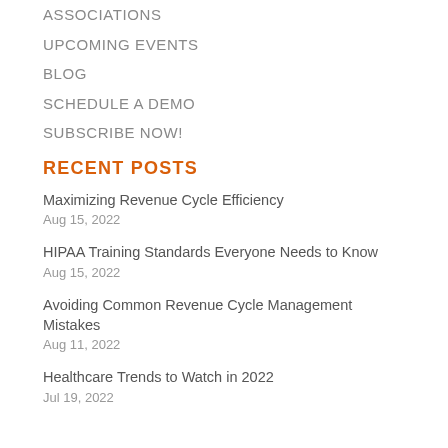ASSOCIATIONS
UPCOMING EVENTS
BLOG
SCHEDULE A DEMO
SUBSCRIBE NOW!
RECENT POSTS
Maximizing Revenue Cycle Efficiency
Aug 15, 2022
HIPAA Training Standards Everyone Needs to Know
Aug 15, 2022
Avoiding Common Revenue Cycle Management Mistakes
Aug 11, 2022
Healthcare Trends to Watch in 2022
Jul 19, 2022